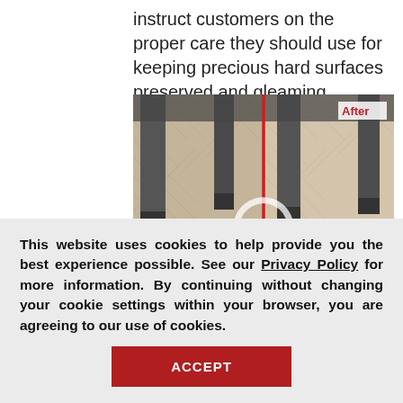instruct customers on the proper care they should use for keeping precious hard surfaces preserved and gleaming.
[Figure (photo): Before and after comparison photo of a hard floor surface (herringbone tile/wood pattern) in a commercial space. A red vertical dividing line splits the image, with 'Before' label on the left side and 'After' label on the upper right. A circular arrow graphic overlaid in the center, and a cleaning tool at the bottom center.]
This website uses cookies to help provide you the best experience possible. See our Privacy Policy for more information. By continuing without changing your cookie settings within your browser, you are agreeing to our use of cookies.